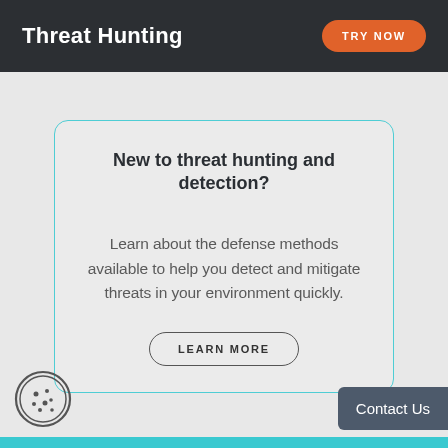Threat Hunting
TRY NOW
New to threat hunting and detection?
Learn about the defense methods available to help you detect and mitigate threats in your environment quickly.
LEARN MORE
[Figure (illustration): Cookie consent icon — circular icon with cookie and dots]
Contact Us